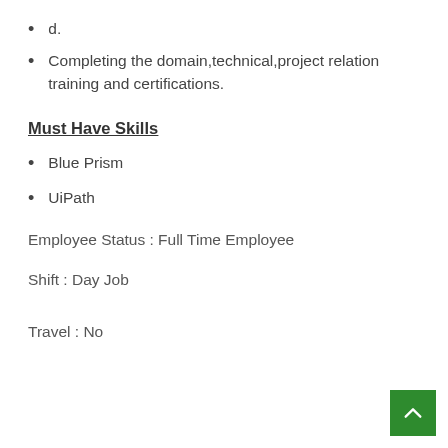d.
Completing the domain,technical,project relation training and certifications.
Must Have Skills
Blue Prism
UiPath
Employee Status : Full Time Employee
Shift : Day Job
Travel : No